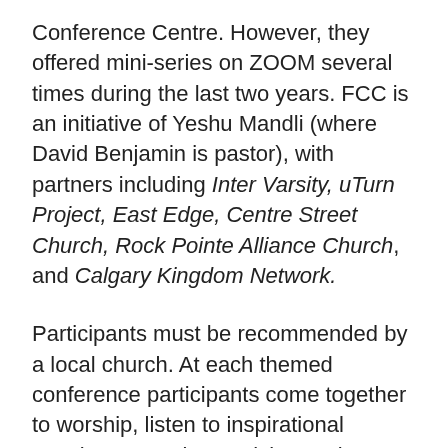Conference Centre. However, they offered mini-series on ZOOM several times during the last two years. FCC is an initiative of Yeshu Mandli (where David Benjamin is pastor), with partners including Inter Varsity, uTurn Project, East Edge, Centre Street Church, Rock Pointe Alliance Church, and Calgary Kingdom Network.
Participants must be recommended by a local church. At each themed conference participants come together to worship, listen to inspirational speakers, practise applying Scriptures, attend practical hands-on workshops and have fun during team building activities and games. It is a time intended to spark interest, challenge thinking, awaken, encourage, and inspire. Along with this, some are given opportunity for skill-building by taking part in leading and planning aspects of the conference. A few have gone on to organize conferences where they are. "We hope our participants